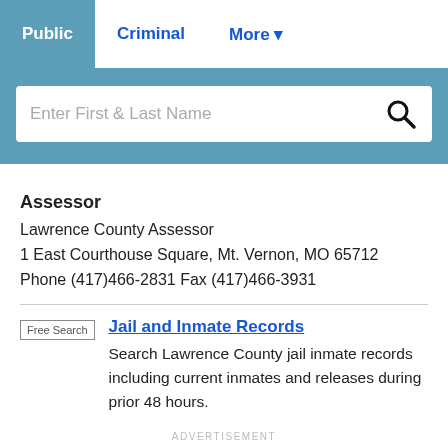Public | Criminal | More
[Figure (screenshot): Search bar with placeholder text 'Enter First & Last Name' and a search icon]
Assessor
Lawrence County Assessor
1 East Courthouse Square, Mt. Vernon, MO 65712
Phone (417)466-2831 Fax (417)466-3931
Jail and Inmate Records
Search Lawrence County jail inmate records including current inmates and releases during prior 48 hours.
ADVERTISEMENT